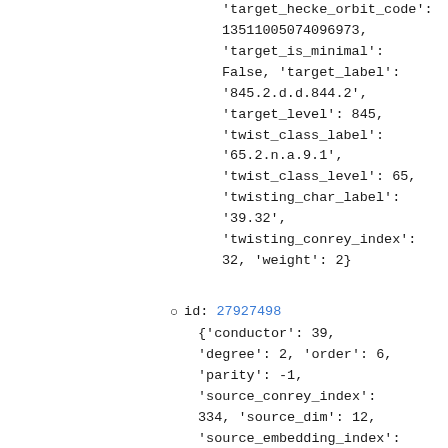'target_hecke_orbit_code': 13511005074096973, 'target_is_minimal': False, 'target_label': '845.2.d.d.844.2', 'target_level': 845, 'twist_class_label': '65.2.n.a.9.1', 'twist_class_level': 65, 'twisting_char_label': '39.32', 'twisting_conrey_index': 32, 'weight': 2}
id: 27927498 {'conductor': 39, 'degree': 2, 'order': 6, 'parity': -1, 'source_conrey_index': 334, 'source_dim': 12, 'source_embedding_index':